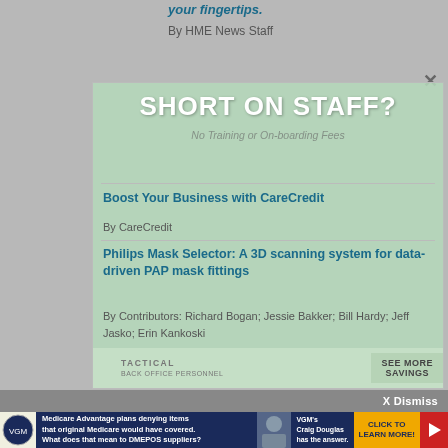your fingertips.
By HME News Staff
[Figure (screenshot): Modal popup advertisement overlay with green background showing 'SHORT ON STAFF?' headline and article listings for medical/HME industry content]
Boost Your Business with CareCredit
By CareCredit
Philips Mask Selector: A 3D scanning system for data-driven PAP mask fittings
By Contributors: Richard Bogan; Jessie Bakker; Bill Hardy; Jeff Jasko; Erin Kankoski
X Dismiss
[Figure (infographic): Bottom banner advertisement for VGM about Medicare Advantage plans denying items, featuring Craig Douglas, with 'CLICK TO LEARN MORE!' call to action]